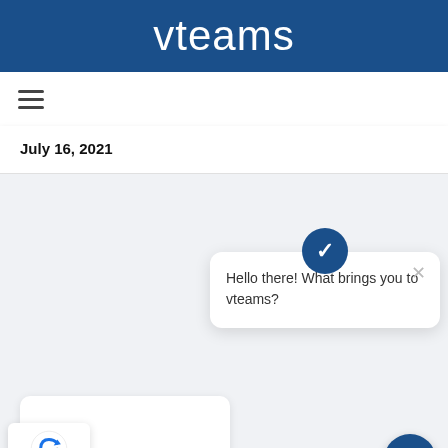vteams
[Figure (screenshot): Hamburger menu icon (three horizontal lines)]
July 16, 2021
[Figure (screenshot): Chat widget popup with vteams logo avatar, close button, and message: Hello there! What brings you to vteams?]
[Figure (logo): reCAPTCHA badge with logo and Privacy - Terms text]
Come Build With Us